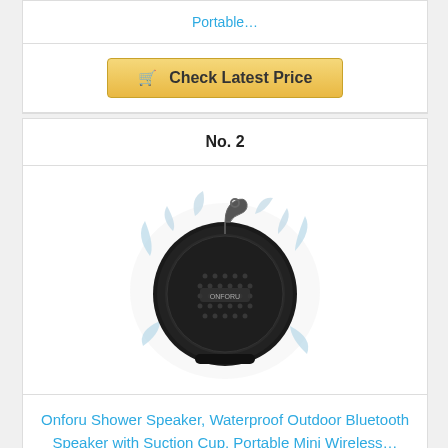Portable…
Check Latest Price
No. 2
[Figure (photo): Black round waterproof Onforu shower Bluetooth speaker with water splashing around it and a carabiner hook on top]
Onforu Shower Speaker, Waterproof Outdoor Bluetooth Speaker with Suction Cup, Portable Mini Wireless…
Check Latest Price